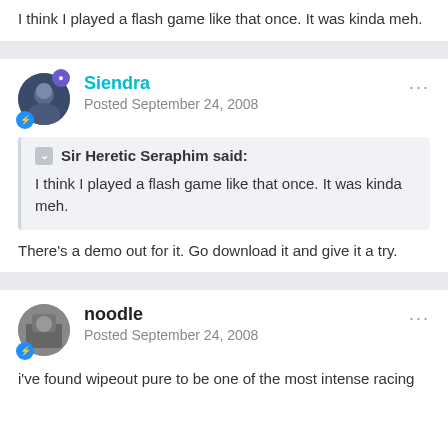I think I played a flash game like that once. It was kinda meh.
Siendra
Posted September 24, 2008
Sir Heretic Seraphim said:
I think I played a flash game like that once. It was kinda meh.
There's a demo out for it. Go download it and give it a try.
noodle
Posted September 24, 2008
i've found wipeout pure to be one of the most intense racing